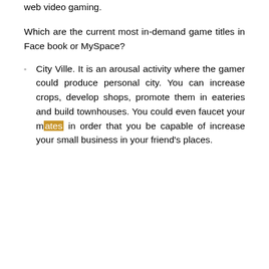are technique mine craft games; games which are made to build critical contemplating and use different techniques so that you can win. Games in Face book or twitter also permit end users to have interaction collectively best cracked smp may have fun with people who are element of your group or make contact with list, and those who will not be. You can also meet up with new buddies as a result of on the web video gaming.
Which are the current most in-demand game titles in Face book or MySpace?
City Ville. It is an arousal activity where the gamer could produce personal city. You can increase crops, develop shops, promote them in eateries and build townhouses. You could even faucet your mates in order that you be capable of increase your small business in your friend's places.